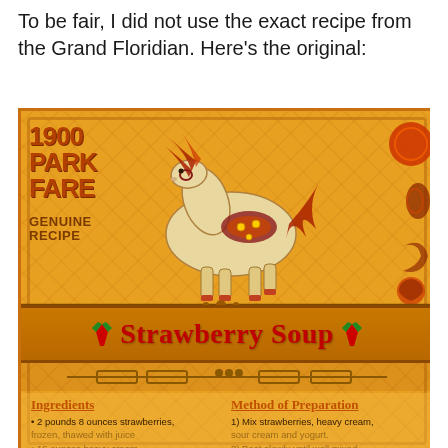To be fair, I did not use the exact recipe from the Grand Floridian.  Here's the original:
[Figure (photo): Recipe card for '1900 Park Fare Genuine Recipe Strawberry Soup' on an orange/golden background with a carousel horse illustration. Shows ingredients including 2 pounds 8 ounces strawberries, 16 ounces heavy cream, 2 ounces sour cream; and Method of Preparation: 1) Mix strawberries, heavy cream, sour cream and yogurt. 2) Beat slowly until well mixed and a smooth consistency.]